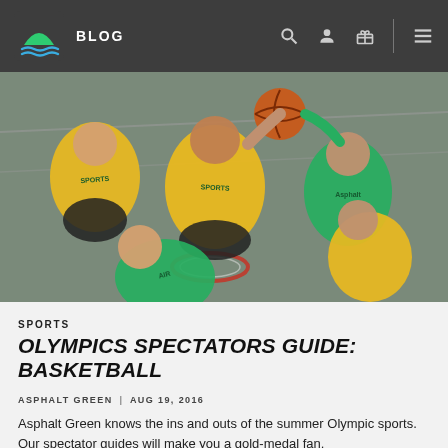BLOG
[Figure (photo): Overhead aerial view of a basketball game showing players in yellow and green jerseys on an indoor court, with one player dunking the ball into the hoop.]
SPORTS
OLYMPICS SPECTATORS GUIDE: BASKETBALL
ASPHALT GREEN | AUG 19, 2016
Asphalt Green knows the ins and outs of the summer Olympic sports. Our spectator guides will make you a gold-medal fan.